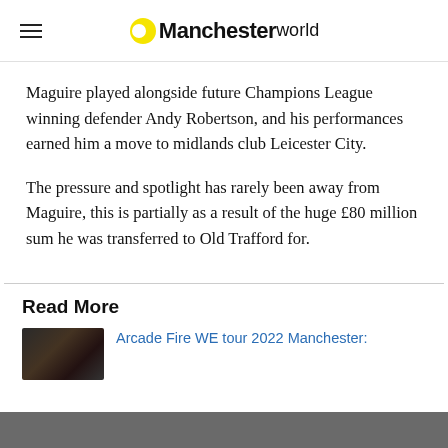Manchester World
Maguire played alongside future Champions League winning defender Andy Robertson, and his performances earned him a move to midlands club Leicester City.
The pressure and spotlight has rarely been away from Maguire, this is partially as a result of the huge £80 million sum he was transferred to Old Trafford for.
Read More
Arcade Fire WE tour 2022 Manchester: